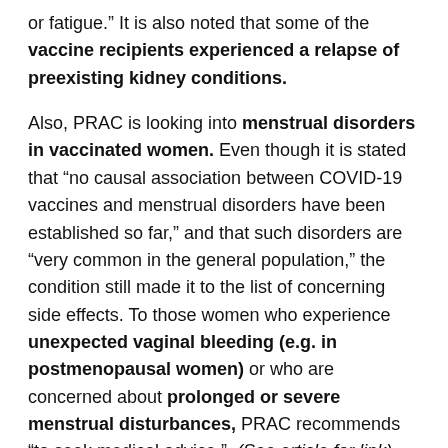or fatigue.” It is also noted that some of the vaccine recipients experienced a relapse of preexisting kidney conditions.
Also, PRAC is looking into menstrual disorders in vaccinated women. Even though it is stated that “no causal association between COVID-19 vaccines and menstrual disorders have been established so far,” and that such disorders are “very common in the general population,” the condition still made it to the list of concerning side effects. To those women who experience unexpected vaginal bleeding (e.g. in postmenopausal women) or who are concerned about prolonged or severe menstrual disturbances, PRAC recommends “to seek medical advice.”  (See article for link)